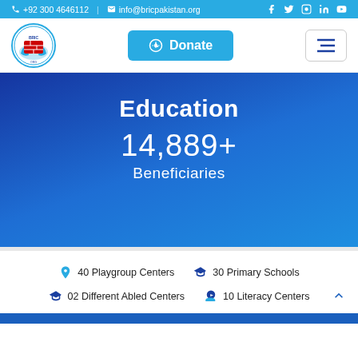+92 300 4646112 | info@bricpakistan.org
[Figure (logo): BRIC logo - circular emblem with hands and brick wall, text Backward Rehabilitation and Improvement Commission]
Donate
Education
14,889+
Beneficiaries
40 Playgroup Centers
30 Primary Schools
02 Different Abled Centers
10 Literacy Centers